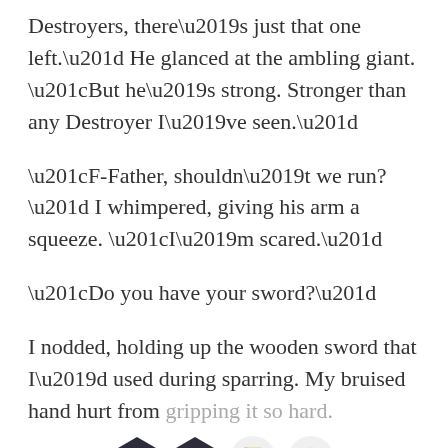Destroyers, there’s just that one left.” He glanced at the ambling giant. “But he’s strong. Stronger than any Destroyer I’ve seen.”
“F-Father, shouldn’t we run?” I whimpered, giving his arm a squeeze. “I’m scared.”
“Do you have your sword?”
I nodded, holding up the wooden sword that I’d used during sparring. My bruised hand hurt from gripping it so hard.
[Figure (other): Four app/UI icons in a row: a dark hexagon with a speech bubble, a dark hexagon with a letter A and minus sign, a light circle with an orange book, and a light circle with a smiling face emoji]